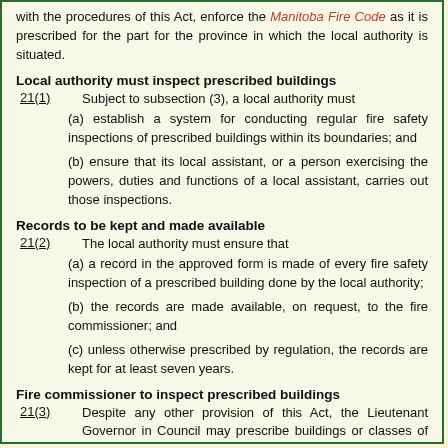with the procedures of this Act, enforce the Manitoba Fire Code as it is prescribed for the part for the province in which the local authority is situated.
Local authority must inspect prescribed buildings
21(1)    Subject to subsection (3), a local authority must
(a) establish a system for conducting regular fire safety inspections of prescribed buildings within its boundaries; and
(b) ensure that its local assistant, or a person exercising the powers, duties and functions of a local assistant, carries out those inspections.
Records to be kept and made available
21(2)    The local authority must ensure that
(a) a record in the approved form is made of every fire safety inspection of a prescribed building done by the local authority;
(b) the records are made available, on request, to the fire commissioner; and
(c) unless otherwise prescribed by regulation, the records are kept for at least seven years.
Fire commissioner to inspect prescribed buildings
21(3)    Despite any other provision of this Act, the Lieutenant Governor in Council may prescribe buildings or classes of buildings in respect of which only the fire commissioner or a person authorized in